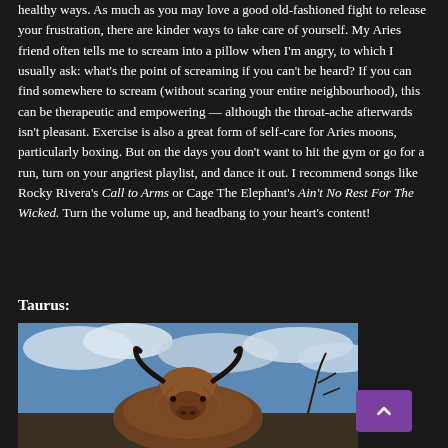healthy ways. As much as you may love a good old-fashioned fight to release your frustration, there are kinder ways to take care of yourself. My Aries friend often tells me to scream into a pillow when I'm angry, to which I usually ask: what's the point of screaming if you can't be heard? If you can find somewhere to scream (without scaring your entire neighbourhood), this can be therapeutic and empowering — although the throat-ache afterwards isn't pleasant. Exercise is also a great form of self-care for Aries moons, particularly boxing. But on the days you don't want to hit the gym or go for a run, turn on your angriest playlist, and dance it out. I recommend songs like Rocky Rivera's Call to Arms or Cage The Elephant's Ain't No Rest For The Wicked. Turn the volume up, and headbang to your heart's content!
Taurus:
[Figure (photo): A Highland cattle (cow) with long brown fur and curved horns, standing against a blue sky with clouds]